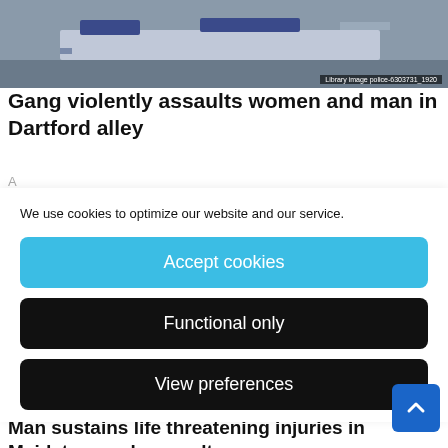[Figure (photo): Police car library image, top portion showing car exterior]
Gang violently assaults women and man in Dartford alley
We use cookies to optimize our website and our service.
Accept cookies
Functional only
View preferences
[Figure (photo): Person in dark clothing, handcuffs visible, library image]
Man sustains life threatening injuries in Maidstone pub assault
August 22, 2022